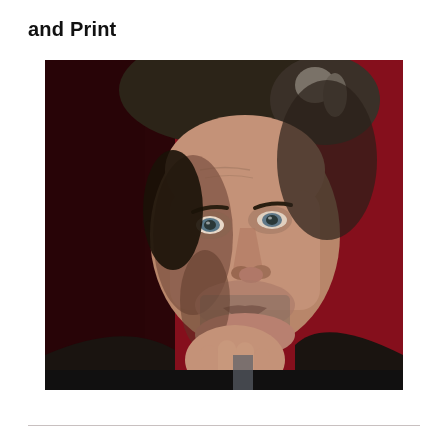and Print
[Figure (photo): Close-up portrait of an older man with dark, slightly grey-streaked hair, resting his chin/fist on his hand against a deep red/crimson background. The man has a contemplative expression, wearing a dark jacket.]